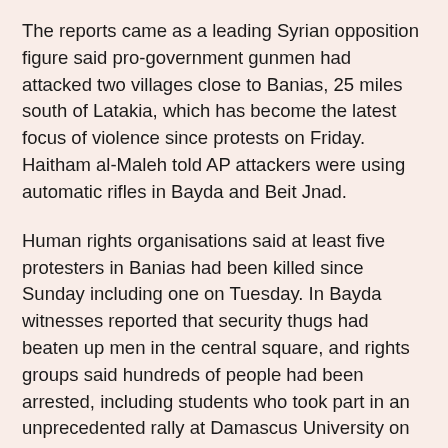The reports came as a leading Syrian opposition figure said pro-government gunmen had attacked two villages close to Banias, 25 miles south of Latakia, which has become the latest focus of violence since protests on Friday. Haitham al-Maleh told AP attackers were using automatic rifles in Bayda and Beit Jnad.
Human rights organisations said at least five protesters in Banias had been killed since Sunday including one on Tuesday. In Bayda witnesses reported that security thugs had beaten up men in the central square, and rights groups said hundreds of people had been arrested, including students who took part in an unprecedented rally at Damascus University on Monday.
Violence in the port cities of Banias and Latakia has become increasingly messy as locals report the involvement of pro-government thugs and private militias. One witness, who spoke on condition of anonymity, said "shabiha" (pro-government thugs) had attacked in cars decorated with photos of the president, Bashar al-Assad, on Sunday. Residents of Banias said there was a shortage of bread, and